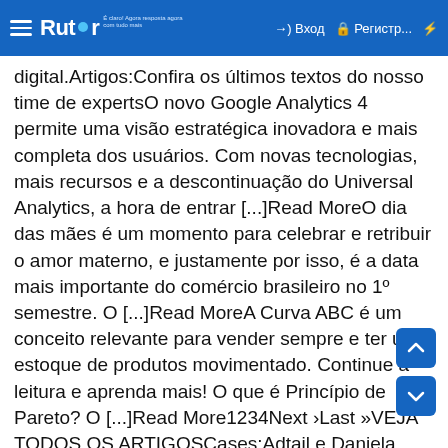Rutor — Вход — Регистр... — (lightning icon)
digital.Artigos:Confira os últimos textos do nosso time de expertsO novo Google Analytics 4 permite uma visão estratégica inovadora e mais completa dos usuários. Com novas tecnologias, mais recursos e a descontinuação do Universal Analytics, a hora de entrar [...]Read MoreO dia das mães é um momento para celebrar e retribuir o amor materno, e justamente por isso, é a data mais importante do comércio brasileiro no 1º semestre. O [...]Read MoreA Curva ABC é um conceito relevante para vender sempre e ter um estoque de produtos movimentado. Continue a leitura e aprenda mais! O que é Princípio de Pareto? O [...]Read More1234Next ›Last »VEJA TODOS OS ARTIGOSCases:Adtail e Daniela Tombini: 3 anos de gestão e 3X mais resultados.CONFIRA O CASECasesShopping dos Cosméticos e Adtail, a multiplicação dos resultados.CONFIRA O CASECasesAnacapri: +29% de receita/mês com recurso Adaptive Bidding da Criteo.CONFIRA O CASEEstamos prontos para desenvolver e operar as estratégias digitais que sua marca precisa!ENTRE EM CONTATOESCRITÓRIOS:Porto Alegre: